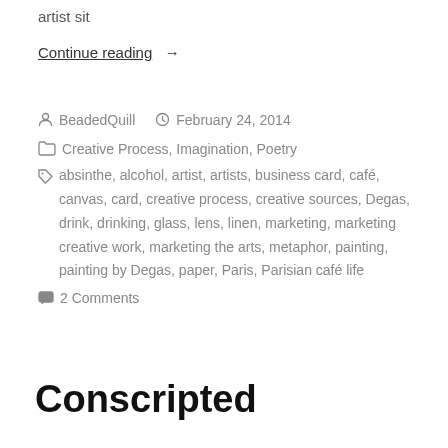artist sit
Continue reading  →
BeadedQuill   February 24, 2014
Creative Process, Imagination, Poetry
absinthe, alcohol, artist, artists, business card, café, canvas, card, creative process, creative sources, Degas, drink, drinking, glass, lens, linen, marketing, marketing creative work, marketing the arts, metaphor, painting, painting by Degas, paper, Paris, Parisian café life
2 Comments
Conscripted